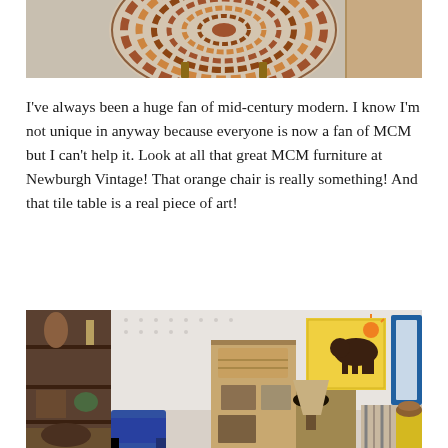[Figure (photo): Top-down view of a circular mosaic tile table with terracotta and brown spiral pattern, on a grey carpet floor]
I've always been a huge fan of mid-century modern. I know I'm not unique in anyway because everyone is now a fan of MCM but I can't help it. Look at all that great MCM furniture at Newburgh Vintage! That orange chair is really something! And that tile table is a real piece of art!
[Figure (photo): Interior of Newburgh Vintage shop showing vintage furniture including a blue chair, wooden dresser with lamp, bookcase with wicker baskets, yellow artwork depicting a bison with sun on wall, blue framed mirror, and various vintage decorative items]